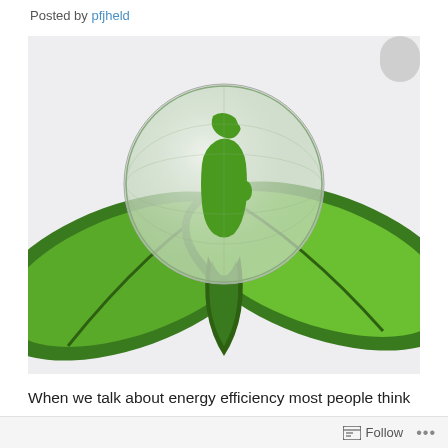Posted by pfjheld
[Figure (illustration): Green eco illustration featuring two large green leaves with a green and white globe/Earth in the center, symbolizing environmental sustainability and energy efficiency, on a light gray background.]
When we talk about energy efficiency most people think about electricity. But the full energy picture also includes fossil fuels to heat our homes and business, get from
Follow ...